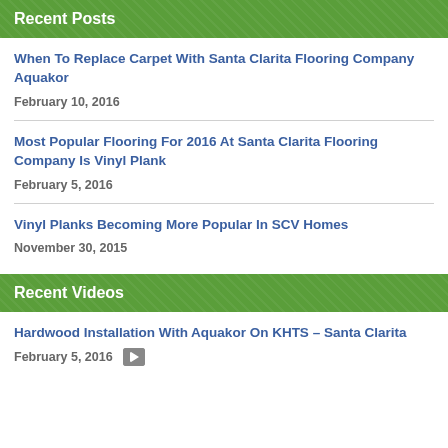Recent Posts
When To Replace Carpet With Santa Clarita Flooring Company Aquakor
February 10, 2016
Most Popular Flooring For 2016 At Santa Clarita Flooring Company Is Vinyl Plank
February 5, 2016
Vinyl Planks Becoming More Popular In SCV Homes
November 30, 2015
Recent Videos
Hardwood Installation With Aquakor On KHTS – Santa Clarita
February 5, 2016